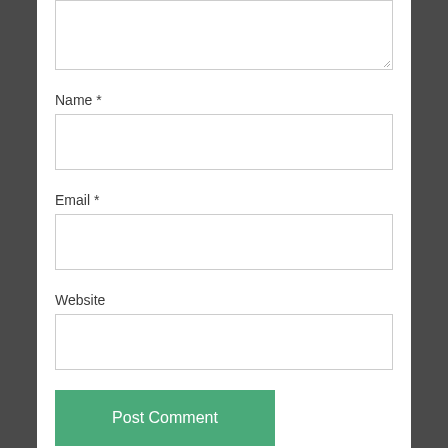[Figure (screenshot): A web form with a textarea at the top (partially visible), followed by labeled input fields for Name, Email, and Website, and a green Post Comment button at the bottom.]
Name *
Email *
Website
Post Comment